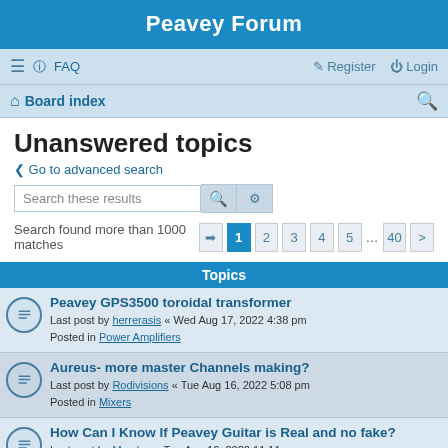Peavey Forum
Unanswered topics
Go to advanced search
Search these results
Search found more than 1000 matches  1 2 3 4 5 … 40 >
Topics
Peavey GPS3500 toroidal transformer
Last post by herrerasis « Wed Aug 17, 2022 4:38 pm
Posted in Power Amplifiers
Aureus- more master Channels making?
Last post by Rodivisions « Tue Aug 16, 2022 5:08 pm
Posted in Mixers
How Can I Know If Peavey Guitar is Real and no fake?
Last post by Mumlaa « Tue Aug 16, 2022 11:11 am
Posted in Peavey Guitars
Peavey 450W Tour Series
Last post by ...